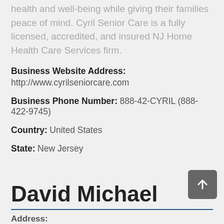health and well-being while giving their families peace of mind. Cyril Senior Care is a fully licensed, accredited, and insured NJ Home Health Care Services firm.
Business Website Address: http://www.cyrilseniorcare.com
Business Phone Number: 888-42-CYRIL (888-422-9745)
Country: United States
State: New Jersey
David Michael
Address: